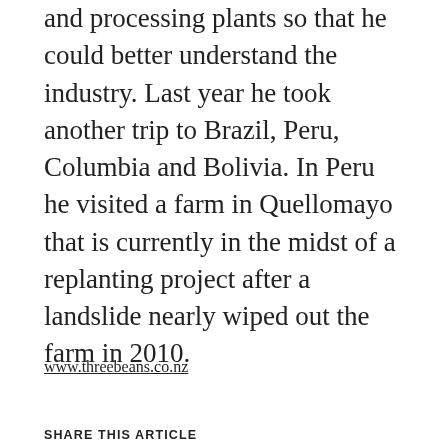and processing plants so that he could better understand the industry. Last year he took another trip to Brazil, Peru, Columbia and Bolivia. In Peru he visited a farm in Quellomayo that is currently in the midst of a replanting project after a landslide nearly wiped out the farm in 2010.
www.threebeans.co.nz
SHARE THIS ARTICLE
[Figure (infographic): Three social media share icons: Facebook, Twitter, Pinterest — each as a circle with the platform logo inside]